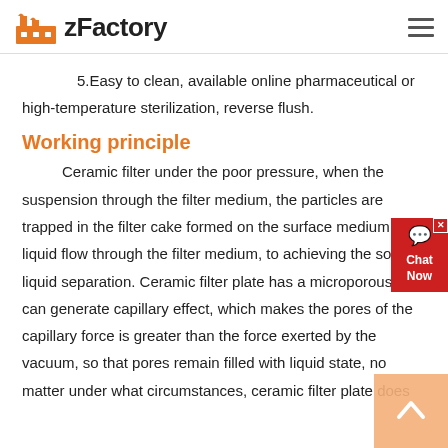zFactory
5.Easy to clean, available online pharmaceutical or high-temperature sterilization, reverse flush.
Working principle
Ceramic filter under the poor pressure, when the suspension through the filter medium, the particles are trapped in the filter cake formed on the surface medium, the liquid flow through the filter medium, to achieving the solid-liquid separation. Ceramic filter plate has a microporous that can generate capillary effect, which makes the pores of the capillary force is greater than the force exerted by the vacuum, so that pores remain filled with liquid state, no matter under what circumstances, ceramic filter plate does